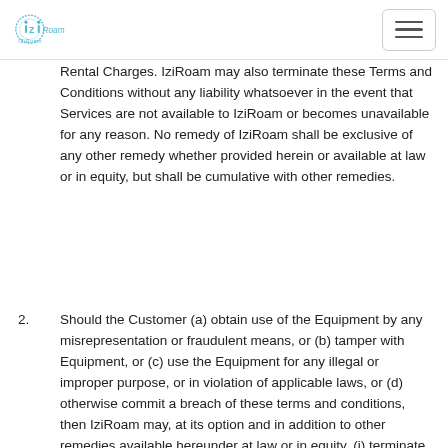IziRoam
Rental Charges. IziRoam may also terminate these Terms and Conditions without any liability whatsoever in the event that Services are not available to IziRoam or becomes unavailable for any reason. No remedy of IziRoam shall be exclusive of any other remedy whether provided herein or available at law or in equity, but shall be cumulative with other remedies.
2. Should the Customer (a) obtain use of the Equipment by any misrepresentation or fraudulent means, or (b) tamper with Equipment, or (c) use the Equipment for any illegal or improper purpose, or in violation of applicable laws, or (d) otherwise commit a breach of these terms and conditions, then IziRoam may, at its option and in addition to other remedies available hereunder at law or in equity, (i) terminate this Agreement, (ii) immediately terminate all services to